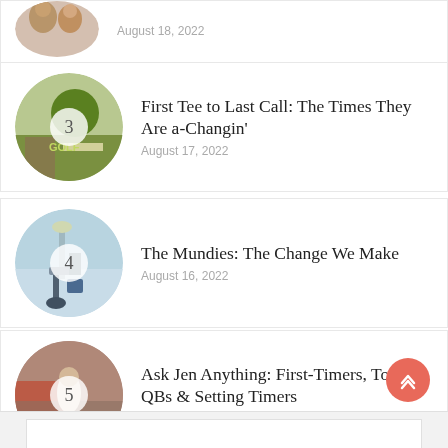August 18, 2022
First Tee to Last Call: The Times They Are a-Changin'
August 17, 2022
The Mundies: The Change We Make
August 16, 2022
Ask Jen Anything: First-Timers, Top-10 QBs & Setting Timers
August 12, 2022